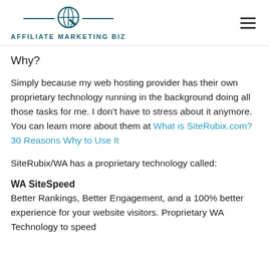AFFILIATE MARKETING BIZ
Why?
Simply because my web hosting provider has their own proprietary technology running in the background doing all those tasks for me. I don't have to stress about it anymore. You can learn more about them at What is SiteRubix.com? 30 Reasons Why to Use It
SiteRubix/WA has a proprietary technology called:
WA SiteSpeed
Better Rankings, Better Engagement, and a 100% better experience for your website visitors. Proprietary WA Technology to speed